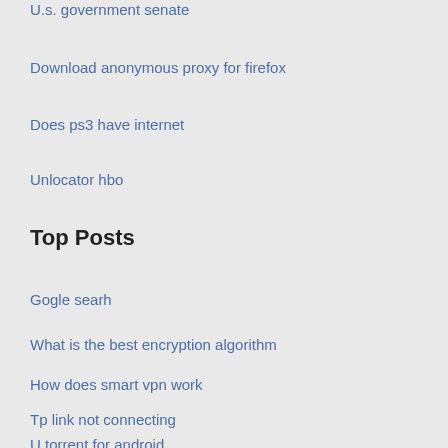U.s. government senate
Download anonymous proxy for firefox
Does ps3 have internet
Unlocator hbo
Top Posts
Gogle searh
What is the best encryption algorithm
How does smart vpn work
Tp link not connecting
U torrent for android